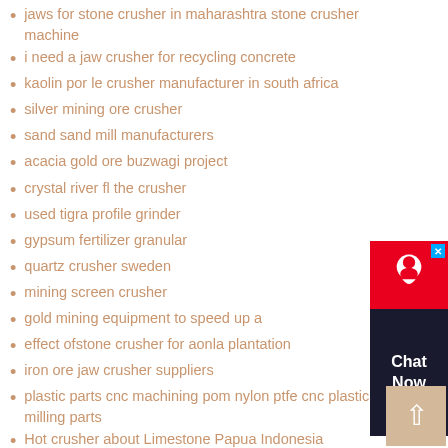jaws for stone crusher in maharashtra stone crusher machine
i need a jaw crusher for recycling concrete
kaolin por le crusher manufacturer in south africa
silver mining ore crusher
sand sand mill manufacturers
acacia gold ore buzwagi project
crystal river fl the crusher
used tigra profile grinder
gypsum fertilizer granular
quartz crusher sweden
mining screen crusher
gold mining equipment to speed up a
effect ofstone crusher for aonla plantation
iron ore jaw crusher suppliers
plastic parts cnc machining pom nylon ptfe cnc plastic milling parts
Hot crusher about Limestone Papua Indonesia
digunakan pabrik pengolahan dolomit
grasberg processing facility
application roll mining mill and ball mill
mining wash salegold